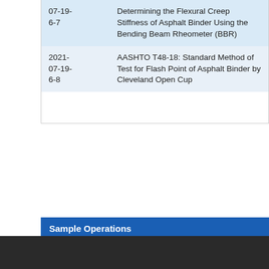| Date | Description |
| --- | --- |
| 07-19-6-7 | Determining the Flexural Creep Stiffness of Asphalt Binder Using the Bending Beam Rheometer (BBR) |
| 2021-07-19-6-8 | AASHTO T48-18: Standard Method of Test for Flash Point of Asphalt Binder by Cleveland Open Cup |
Sample Operations
View Sample Detail
Print Sample Report
TL-101